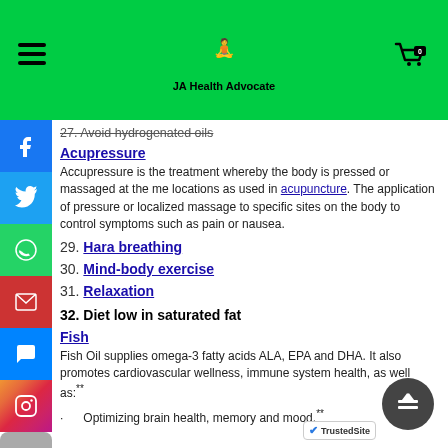JA Health Advocate
27. Avoid hydrogenated oils
Acupressure
Acupressure is the treatment whereby the body is pressed or massaged at the same locations as used in acupuncture. The application of pressure or localized massage to specific sites on the body to control symptoms such as pain or nausea.
29. Hara breathing
30. Mind-body exercise
31. Relaxation
32. Diet low in saturated fat
Fish
Fish Oil supplies omega-3 fatty acids ALA, EPA and DHA. It also promotes cardiovascular wellness, immune system health, as well as:**
· Optimizing brain health, memory and mood.**